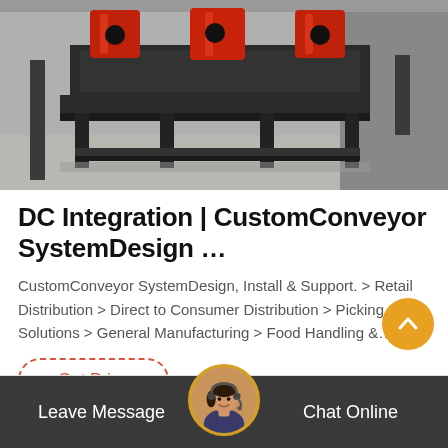[Figure (photo): Industrial conveyor or heavy machinery equipment in a warehouse/factory setting. Large black metal frame structure with red mechanical components visible in background. Concrete floor, grey walls.]
DC Integration | CustomConveyor SystemDesign …
CustomConveyor SystemDesign, Install & Support. > Retail Distribution > Direct to Consumer Distribution > Picking Solutions > General Manufacturing > Food Handling &…
Get Price
Leave Message   Chat Online